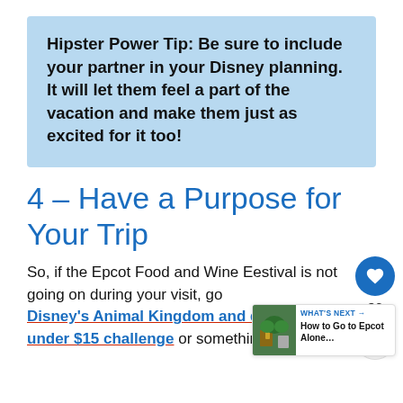Hipster Power Tip: Be sure to include your partner in your Disney planning. It will let them feel a part of the vacation and make them just as excited for it too!
4 – Have a Purpose for Your Trip
So, if the Epcot Food and Wine Eestival is not going on during your visit, go to Disney's Animal Kingdom and do to snacks under $15 challenge or something